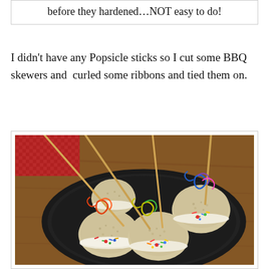before they hardened…NOT easy to do!
I didn't have any Popsicle sticks so I cut some BBQ skewers and  curled some ribbons and tied them on.
[Figure (photo): Photo of rice crispy treat balls decorated with colorful sprinkles and M&Ms on a black plate, with BBQ skewer sticks inserted and curled colorful ribbons tied on top, placed on a wooden table with a red patterned cloth in the background.]